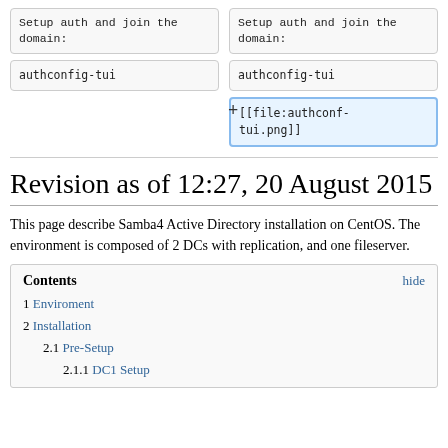Setup auth and join the domain:
authconfig-tui
Setup auth and join the domain:
authconfig-tui
[[file:authconf-tui.png]]
Revision as of 12:27, 20 August 2015
This page describe Samba4 Active Directory installation on CentOS. The environment is composed of 2 DCs with replication, and one fileserver.
Contents hide
1 Enviroment
2 Installation
2.1 Pre-Setup
2.1.1 DC1 Setup